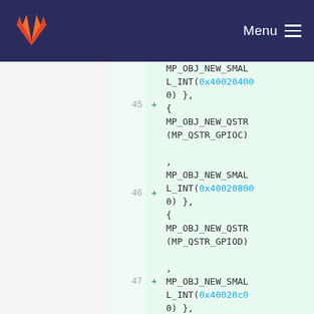GitLab navigation bar with logo and Menu
Code diff view showing lines 45-47 with added lines (+) containing MP_OBJ_NEW_QSTR and MP_OBJ_NEW_SMALL_INT macro calls for GPIO ports C, D, E with hex addresses 0x40020400, 0x40020800, 0x40020c00